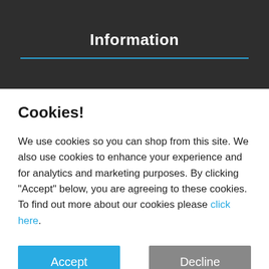Information
Cookies!
We use cookies so you can shop from this site. We also use cookies to enhance your experience and for analytics and marketing purposes. By clicking "Accept" below, you are agreeing to these cookies. To find out more about our cookies please click here.